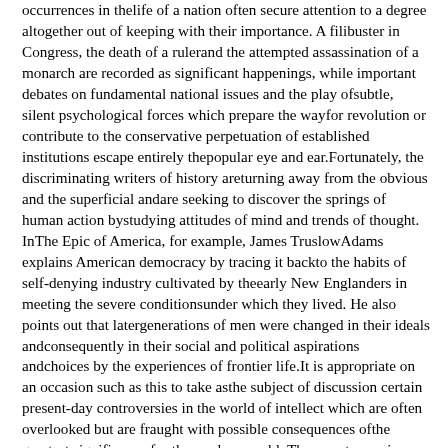occurrences in thelife of a nation often secure attention to a degree altogether out of keeping with their importance. A filibuster in Congress, the death of a rulerand the attempted assassination of a monarch are recorded as significant happenings, while important debates on fundamental national issues and the play ofsubtle, silent psychological forces which prepare the wayfor revolution or contribute to the conservative perpetuation of established institutions escape entirely thepopular eye and ear.Fortunately, the discriminating writers of history areturning away from the obvious and the superficial andare seeking to discover the springs of human action bystudying attitudes of mind and trends of thought. InThe Epic of America, for example, James TruslowAdams explains American democracy by tracing it backto the habits of self-denying industry cultivated by theearly New Englanders in meeting the severe conditionsunder which they lived. He also points out that latergenerations of men were changed in their ideals andconsequently in their social and political aspirations andchoices by the experiences of frontier life.It is appropriate on an occasion such as this to take asthe subject of discussion certain present-day controversies in the world of intellect which are often overlooked but are fraught with possible consequences ofthe greatest significance for the modern world. Thesecontroversies are being waged by opposing groups holding widely differing views with respect to the functionsand methods of education. In their external manifestations educational conflicts are far less spectacular thanare